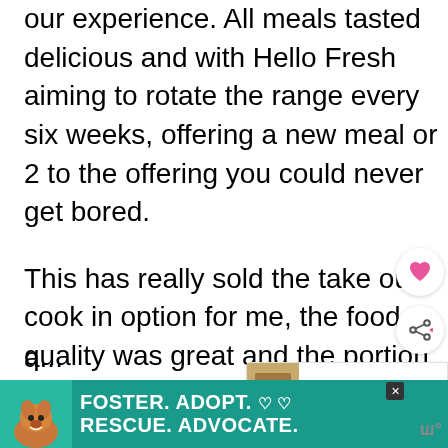our experience. All meals tasted delicious and with Hello Fresh aiming to rotate the range every six weeks, offering a new meal or 2 to the offering you could never get bored.
This has really sold the take out cook in option for me, the food quality was great and the portion size was filling.  I can't wait to try more recipes from this exciting range. Hello Fresh Go takes the thinking out of cooking and makes it fun again and I for one think it is a...
[Figure (screenshot): UI overlay elements: heart/favourite button (pink heart icon, white circle), share button (share icon, white circle), and a 'What's Next' recommendation card showing 'Halloween Alphabet...' with a decorative image thumbnail]
[Figure (screenshot): Advertisement banner at bottom: teal/green background with a dog photo on the left, text reading 'FOSTER. ADOPT. RESCUE. ADVOCATE.' with heart symbols in white. Close button and logo visible.]